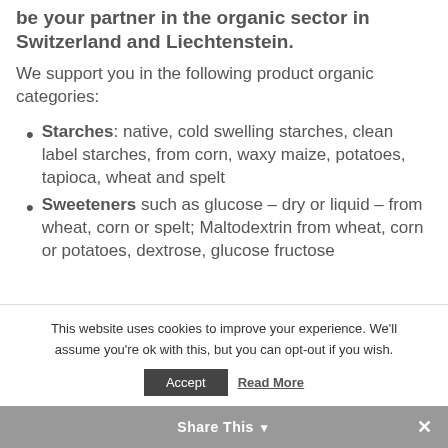be your partner in the organic sector in Switzerland and Liechtenstein.
We support you in the following product organic categories:
Starches: native, cold swelling starches, clean label starches, from corn, waxy maize, potatoes, tapioca, wheat and spelt
Sweeteners such as glucose – dry or liquid – from wheat, corn or spelt; Maltodextrin from wheat, corn or potatoes, dextrose, glucose fructose
This website uses cookies to improve your experience. We'll assume you're ok with this, but you can opt-out if you wish.
Share This